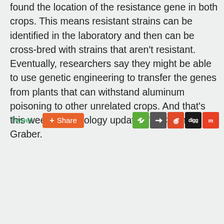found the location of the resistance gene in both crops. This means resistant strains can be identified in the laboratory and then can be cross-bred with strains that aren't resistant. Eventually, researchers say they might be able to use genetic engineering to transfer the genes from plants that can withstand aluminum poisoning to other unrelated crops. And that's this week's technology update. I'm Cynthia Graber.
Tweet  Share [social sharing icons]